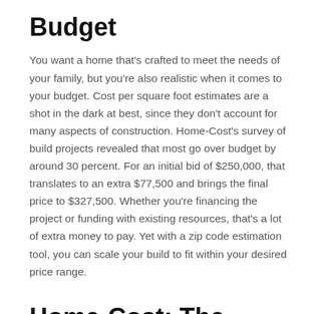Budget
You want a home that's crafted to meet the needs of your family, but you're also realistic when it comes to your budget. Cost per square foot estimates are a shot in the dark at best, since they don't account for many aspects of construction. Home-Cost's survey of build projects revealed that most go over budget by around 30 percent. For an initial bid of $250,000, that translates to an extra $77,500 and brings the final price to $327,500. Whether you're financing the project or funding with existing resources, that's a lot of extra money to pay. Yet with a zip code estimation tool, you can scale your build to fit within your desired price range.
Home-Cost: The Better Solution